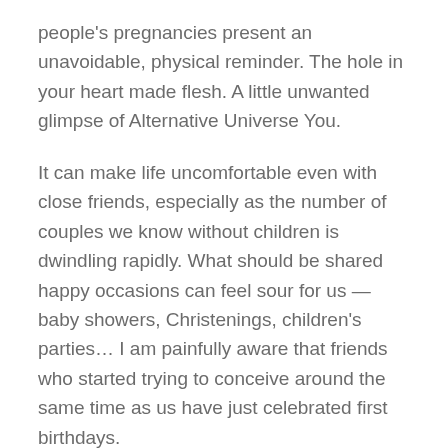people's pregnancies present an unavoidable, physical reminder. The hole in your heart made flesh. A little unwanted glimpse of Alternative Universe You.
It can make life uncomfortable even with close friends, especially as the number of couples we know without children is dwindling rapidly. What should be shared happy occasions can feel sour for us — baby showers, Christenings, children's parties… I am painfully aware that friends who started trying to conceive around the same time as us have just celebrated first birthdays.
Several are on their second or even third children. We've been lapped before we're even off the starting blocks.
And even the most brilliant, understanding of friends can